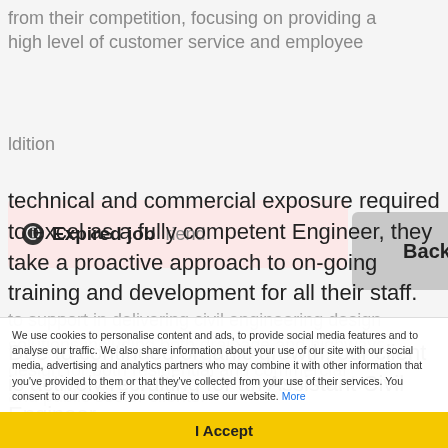from their competition, focusing on providing a high level of customer service and employee
[Figure (infographic): Expired job notification banner (pink background with exclamation icon) and Back to job search button (grey)]
technical and commercial exposure required to excel as a fully competent Engineer, they take a proactive approach to on-going training and development for all their staff.
Due to continued organic growth, our client is actively recruiting for an Assistant Civil Engineer to support in delivering civil engineering design solutions including both drainage and highways design for both residential and commercial and public sector clients.
We use cookies to personalise content and ads, to provide social media features and to analyse our traffic. We also share information about your use of our site with our social media, advertising and analytics partners who may combine it with other information that you've provided to them or that they've collected from your use of their services. You consent to our cookies if you continue to use our website. More
I Accept